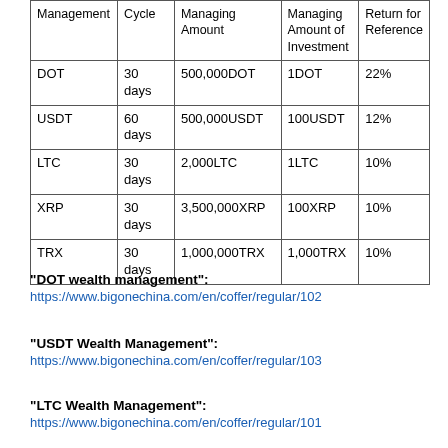| Management | Cycle | Managing Amount | Managing Amount of Investment | Return for Reference |
| --- | --- | --- | --- | --- |
| DOT | 30 days | 500,000DOT | 1DOT | 22% |
| USDT | 60 days | 500,000USDT | 100USDT | 12% |
| LTC | 30 days | 2,000LTC | 1LTC | 10% |
| XRP | 30 days | 3,500,000XRP | 100XRP | 10% |
| TRX | 30 days | 1,000,000TRX | 1,000TRX | 10% |
"DOT wealth management":
https://www.bigonechina.com/en/coffer/regular/102
"USDT Wealth Management":
https://www.bigonechina.com/en/coffer/regular/103
"LTC Wealth Management":
https://www.bigonechina.com/en/coffer/regular/101